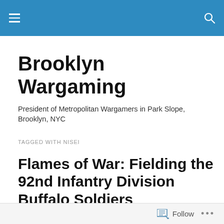Brooklyn Wargaming — site navigation header
Brooklyn Wargaming
President of Metropolitan Wargamers in Park Slope, Brooklyn, NYC
TAGGED WITH NISEI
Flames of War: Fielding the 92nd Infantry Division Buffalo Soldiers
[Figure (photo): Black and white photograph showing soldiers, partially visible at bottom of page]
Follow ...